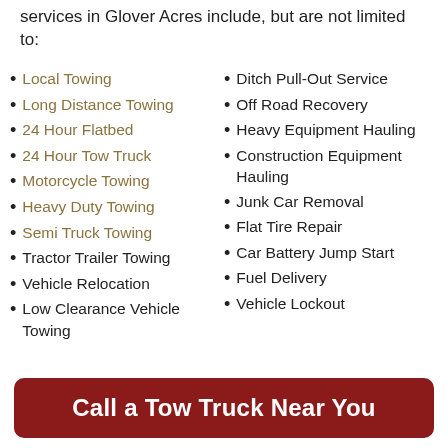services in Glover Acres include, but are not limited to:
Local Towing
Long Distance Towing
24 Hour Flatbed
24 Hour Tow Truck
Motorcycle Towing
Heavy Duty Towing
Semi Truck Towing
Tractor Trailer Towing
Vehicle Relocation
Low Clearance Vehicle Towing
Ditch Pull-Out Service
Off Road Recovery
Heavy Equipment Hauling
Construction Equipment Hauling
Junk Car Removal
Flat Tire Repair
Car Battery Jump Start
Fuel Delivery
Vehicle Lockout
Call a Tow Truck Near You